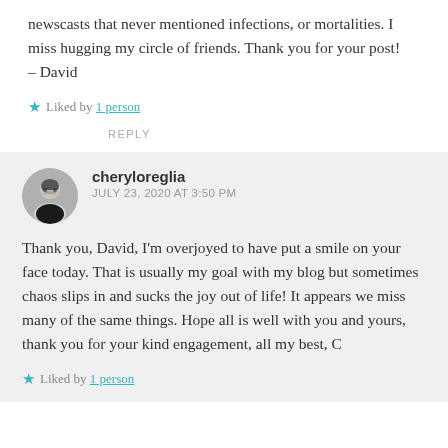newscasts that never mentioned infections, or mortalities. I miss hugging my circle of friends. Thank you for your post! – David
★ Liked by 1 person
REPLY
cheryloreglia
JULY 23, 2020 AT 3:50 PM
Thank you, David, I'm overjoyed to have put a smile on your face today. That is usually my goal with my blog but sometimes chaos slips in and sucks the joy out of life! It appears we miss many of the same things. Hope all is well with you and yours, thank you for your kind engagement, all my best, C
★ Liked by 1 person